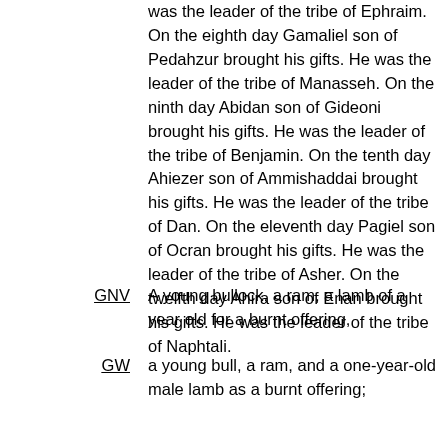was the leader of the tribe of Ephraim. On the eighth day Gamaliel son of Pedahzur brought his gifts. He was the leader of the tribe of Manasseh. On the ninth day Abidan son of Gideoni brought his gifts. He was the leader of the tribe of Benjamin. On the tenth day Ahiezer son of Ammishaddai brought his gifts. He was the leader of the tribe of Dan. On the eleventh day Pagiel son of Ocran brought his gifts. He was the leader of the tribe of Asher. On the twelfth day Ahira son of Enan brought his gifts. He was the leader of the tribe of Naphtali.
GNV: A young bullock, a ram, a lamb of a year old for a burnt offering,
GW: a young bull, a ram, and a one-year-old male lamb as a burnt offering;